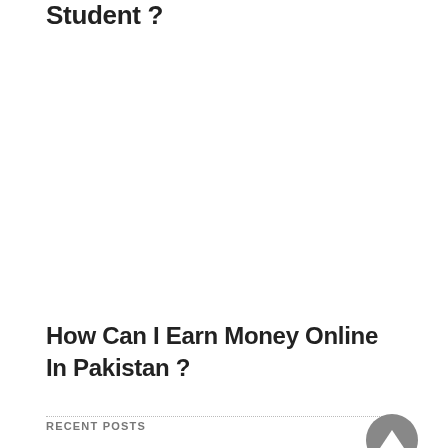Student ?
How Can I Earn Money Online In Pakistan ?
RECENT POSTS